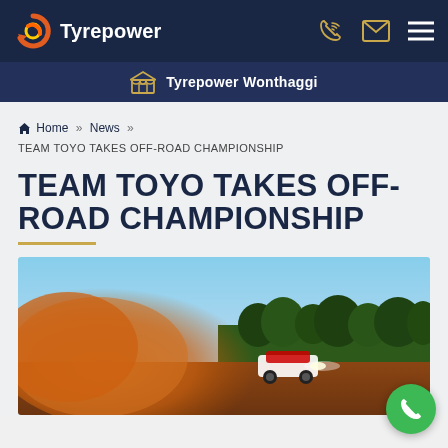Tyrepower
Tyrepower Wonthaggi
Home >> News >> TEAM TOYO TAKES OFF-ROAD CHAMPIONSHIP
TEAM TOYO TAKES OFF-ROAD CHAMPIONSHIP
[Figure (photo): Off-road racing car kicking up red dust on a dirt track, trees and blue sky in background]